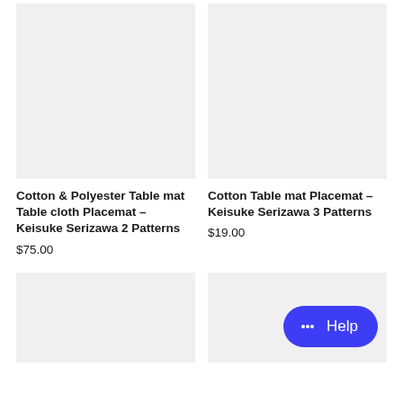[Figure (photo): Product image placeholder - light gray rectangle for Cotton & Polyester Table mat]
[Figure (photo): Product image placeholder - light gray rectangle for Cotton Table mat Placemat]
Cotton & Polyester Table mat Table cloth Placemat - Keisuke Serizawa 2 Patterns
$75.00
Cotton Table mat Placemat - Keisuke Serizawa 3 Patterns
$19.00
[Figure (photo): Product image placeholder - light gray rectangle (bottom left)]
[Figure (photo): Product image placeholder - light gray rectangle (bottom right) with Help chat button overlay]